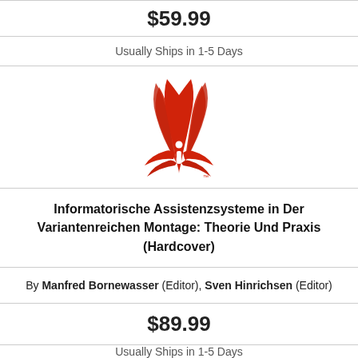$59.99
Usually Ships in 1-5 Days
[Figure (logo): Red stylized bird/phoenix logo with an 'i' symbol — publisher logo (Informit or similar)]
Informatorische Assistenzsysteme in Der Variantenreichen Montage: Theorie Und Praxis (Hardcover)
By Manfred Bornewasser (Editor), Sven Hinrichsen (Editor)
$89.99
Usually Ships in 1-5 Days